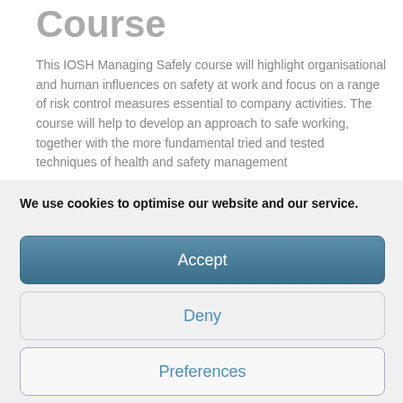Course
This IOSH Managing Safely course will highlight organisational and human influences on safety at work and focus on a range of risk control measures essential to company activities. The course will help to develop an approach to safe working, together with the more fundamental tried and tested techniques of health and safety management
We use cookies to optimise our website and our service.
Accept
Deny
Preferences
Cookie Policy  Privacy Notice